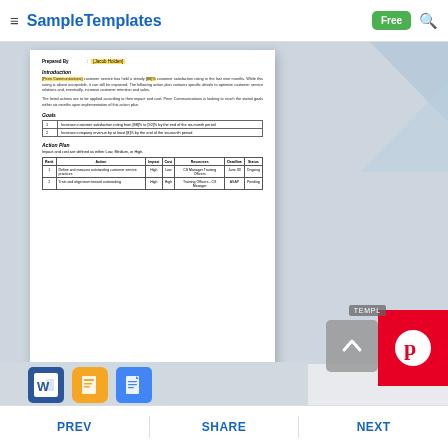SampleTemplates — Free (navigation bar)
Prepared By : [Jacob Holden]
Introduction
[Penn Communications] customer service has held a steady [88]% customer satisfaction rating in the last nine months. While this rating is above acceptable, it can still be improved. The following action plan contains specific details to optimize customer service relations and, eventually, increase customer retention and sales.
The listed actions are to be applied according to their impact and cost. Penn Communications is looking to reach the stated goals within six months upon implementation of this action plan.
Goals
|  |  |
| --- | --- |
| 1 | Increase customer satisfaction rating from [88]% to [92]% by the end of the six-month period |
| 2 | Increase company revenue by at least [8]% by the end of the six-month period |
Action Plan
Impact and cost are defined as either Low, Medium, or High.
| Rank | Action | Impact | Cost | Resources | Deadline | Status |
| --- | --- | --- | --- | --- | --- | --- |
| 1 | Define and measure outstanding customer service practices | High | Low | CS Manager Training Officers | June 30 | Ongoing |
| 2 | Train and align team toward outstanding | High | High | Training Officers - CS Manager | ASAP | Pending |
PREV   SHARE   NEXT